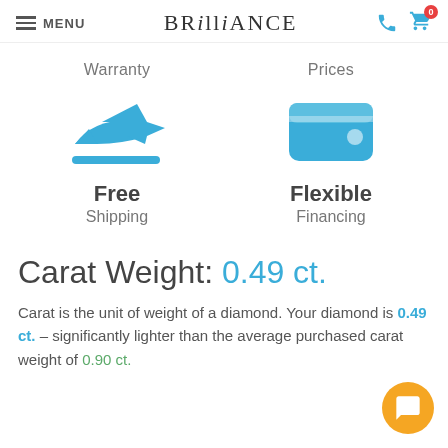MENU | BRILLIANCE | phone icon | cart icon (0)
Warranty
Prices
[Figure (illustration): Blue airplane/flight icon with a blue underline bar, representing Free Shipping]
Free Shipping
[Figure (illustration): Blue wallet icon representing Flexible Financing]
Flexible Financing
Carat Weight: 0.49 ct.
Carat is the unit of weight of a diamond. Your diamond is 0.49 ct. – significantly lighter than the average purchased carat weight of 0.90 ct.